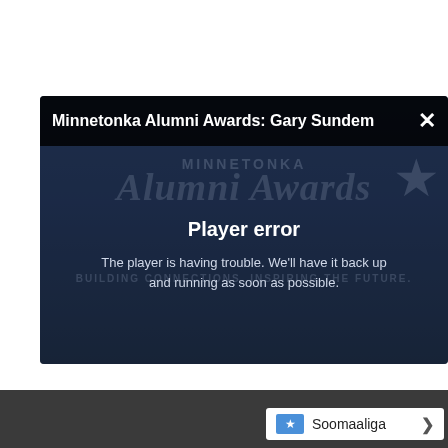[Figure (screenshot): Video player showing Minnetonka Alumni Awards: Gary Sundem with a player error overlay. The player displays the Minnetonka Alumni Awards watermark logo and text 'Player error / The player is having trouble. We'll have it back up and running as soon as possible.']
Player error
The player is having trouble. We'll have it back up and running as soon as possible.
Soomaaliga